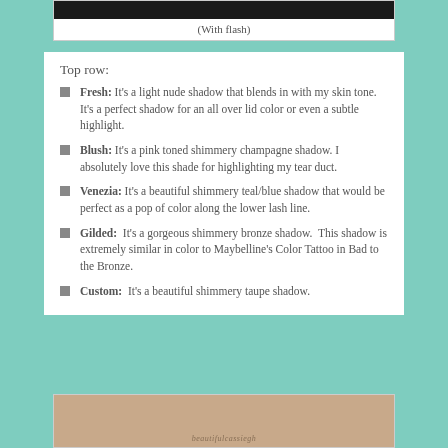[Figure (photo): Dark photo strip at the top (with flash label below)]
(With flash)
Top row:
Fresh: It’s a light nude shadow that blends in with my skin tone. It’s a perfect shadow for an all over lid color or even a subtle highlight.
Blush: It’s a pink toned shimmery champagne shadow. I absolutely love this shade for highlighting my tear duct.
Venezia: It’s a beautiful shimmery teal/blue shadow that would be perfect as a pop of color along the lower lash line.
Gilded: It’s a gorgeous shimmery bronze shadow. This shadow is extremely similar in color to Maybelline’s Color Tattoo in Bad to the Bronze.
Custom: It’s a beautiful shimmery taupe shadow.
[Figure (photo): Photo of skin/hand at the bottom with watermark 'beautifulcassiegh']